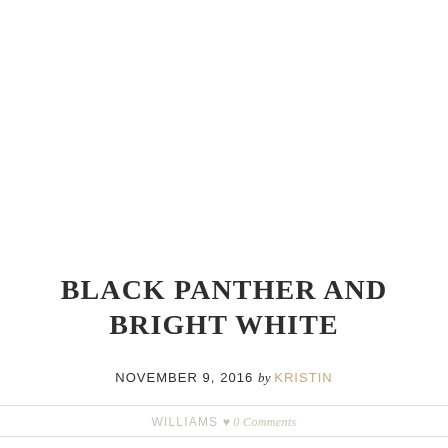BLACK PANTHER AND BRIGHT WHITE
NOVEMBER 9, 2016 BY KRISTIN
WILLIAMS ♥ 0 Comments